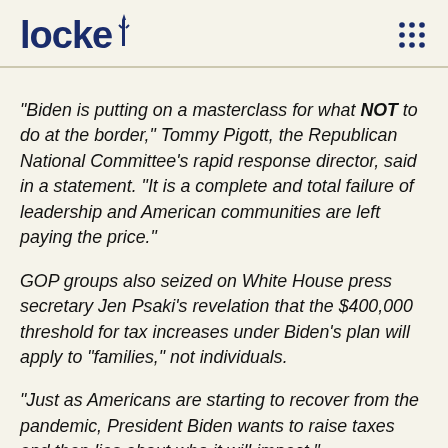locke
"Biden is putting on a masterclass for what NOT to do at the border," Tommy Pigott, the Republican National Committee's rapid response director, said in a statement. "It is a complete and total failure of leadership and American communities are left paying the price."
GOP groups also seized on White House press secretary Jen Psaki's revelation that the $400,000 threshold for tax increases under Biden's plan will apply to "families," not individuals.
"Just as Americans are starting to recover from the pandemic, President Biden wants to raise taxes and then lies about who it will impact."